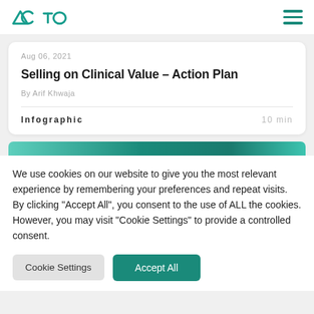ACTO
Aug 06, 2021
Selling on Clinical Value – Action Plan
By Arif Khwaja
Infographic   10 min
We use cookies on our website to give you the most relevant experience by remembering your preferences and repeat visits. By clicking "Accept All", you consent to the use of ALL the cookies. However, you may visit "Cookie Settings" to provide a controlled consent.
Cookie Settings   Accept All